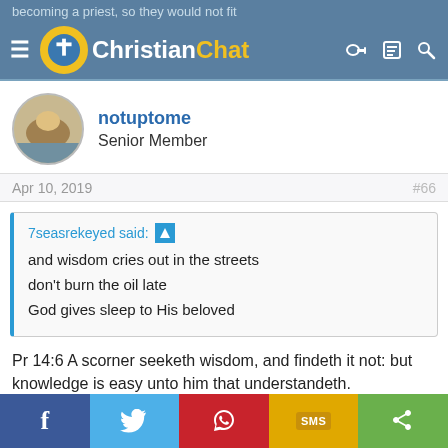Christian Chat
becoming a priest, so they would not fit
notuptome
Senior Member
Apr 10, 2019   #66
7seasrekeyed said:
and wisdom cries out in the streets
don't burn the oil late
God gives sleep to His beloved
Pr 14:6 A scorner seeketh wisdom, and findeth it not: but knowledge is easy unto him that understandeth.